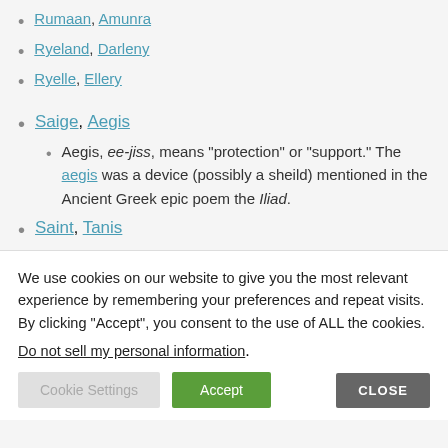Rumaan, Amunra
Ryeland, Darleny
Ryelle, Ellery
Saige, Aegis
Aegis, ee-jiss, means “protection” or “support.” The aegis was a device (possibly a sheild) mentioned in the Ancient Greek epic poem the Iliad.
Saint, Tanis
We use cookies on our website to give you the most relevant experience by remembering your preferences and repeat visits. By clicking “Accept”, you consent to the use of ALL the cookies.
Do not sell my personal information.